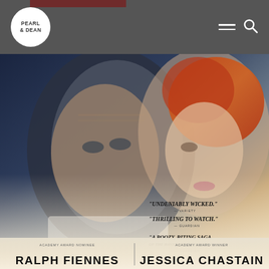[Figure (screenshot): Pearl & Dean website header with logo circle containing 'PEARL & DEAN' text on dark gray background, with hamburger menu and search icons on the right]
[Figure (photo): Movie poster for a film featuring Ralph Fiennes and Jessica Chastain. Two actors face-to-back: an older man in white suit on left and a red-haired woman on right. Dark blue to warm golden gradient background. Review quotes: 'UNDENIABLY WICKED.', 'THRILLING TO WATCH.', 'A BOOZY, BITING SAGA OF THE HAVES AND HAVE NOTS.' At bottom: 'ACADEMY AWARD NOMINEE RALPH FIENNES' and 'ACADEMY AWARD WINNER JESSICA CHASTAIN']